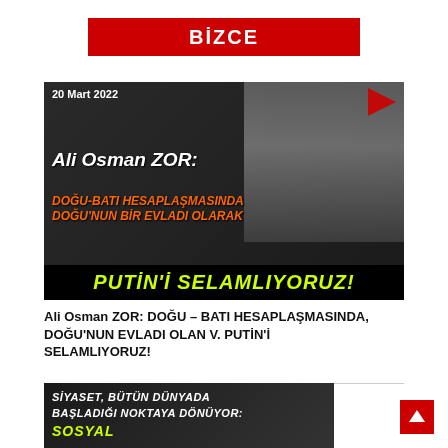BİZCE
[Figure (screenshot): Thumbnail image with date '20 Mart 2022', text overlay 'Ali Osman ZOR: DOĞU-BATI HESAPLAŞMASINDA DOĞU'NUN BİR EVLADI OLARAK PUTİN'İ SELAMLIYORUZ!' with man in cap visible on right side, red play button top right]
Ali Osman ZOR: DOĞU – BATI HESAPLAŞMASINDA, DOĞU'NUN EVLADI OLAN V. PUTİN'İ SELAMLIYORUZ!
[Figure (screenshot): Thumbnail image with text 'SİYASET, BÜTÜN DÜNYADA BAŞLADIĞI NOKTAYA DÖNÜYOR:' with yellow text and world map visible]